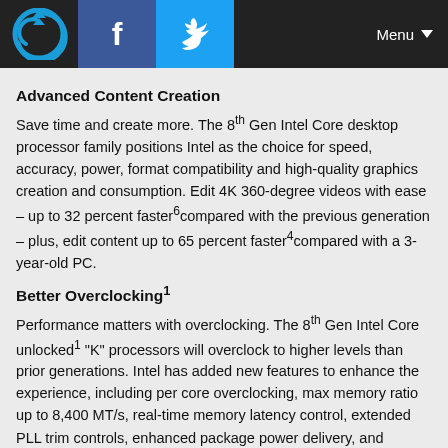Navigation bar with logo, Facebook, Twitter icons and Menu button
Advanced Content Creation
Save time and create more. The 8th Gen Intel Core desktop processor family positions Intel as the choice for speed, accuracy, power, format compatibility and high-quality graphics creation and consumption. Edit 4K 360-degree videos with ease – up to 32 percent faster6 compared with the previous generation – plus, edit content up to 65 percent faster4 compared with a 3-year-old PC.
Better Overclocking1
Performance matters with overclocking. The 8th Gen Intel Core unlocked1 "K" processors will overclock to higher levels than prior generations. Intel has added new features to enhance the experience, including per core overclocking, max memory ratio up to 8,400 MT/s, real-time memory latency control, extended PLL trim controls, enhanced package power delivery, and updated Intel® Extreme Tuning Utility and Intel® Extreme Memory Profile.
Enhanced Platform